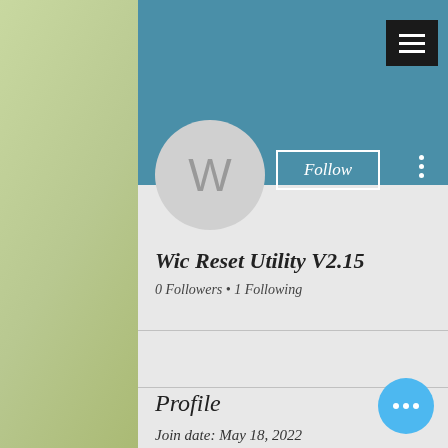[Figure (screenshot): Mobile app profile page screenshot with teal header, avatar circle with 'W', Follow button, user name 'Wic Reset Utility V2.15', follower stats, and profile section showing join date]
Wic Reset Utility V2.15
0 Followers • 1 Following
Profile
Join date: May 18, 2022